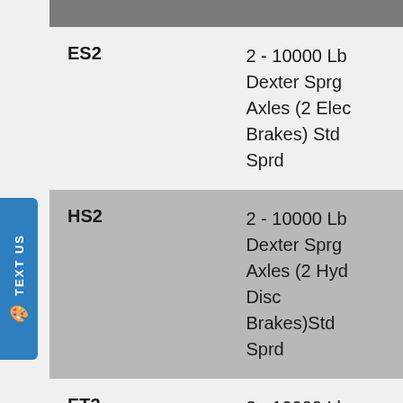| Code | Description |
| --- | --- |
| ES2 | 2 - 10000 Lb Dexter Sprg Axles (2 Elec Brakes) Std Sprd |
| HS2 | 2 - 10000 Lb Dexter Sprg Axles (2 Hyd Disc Brakes)Std Sprd |
| ET2 | 2 - 10000 Lb Dexter Torsion Axles (LEVEL) (2 Elec Brakes) |
| HT2 | 2 - 10000 Lb Dexter Torsion Axles(LEVEL(2 |
[Figure (other): Blue vertical side tab with 'TEXT US' text rotated 90 degrees and a chat/phone icon]